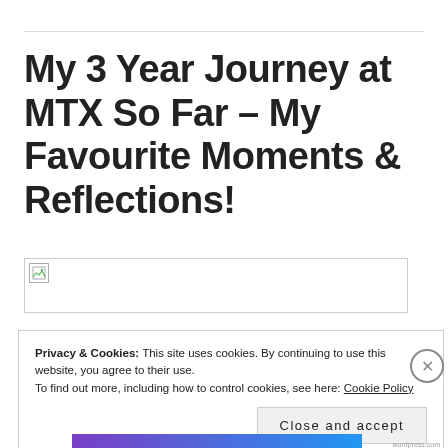My 3 Year Journey at MTX So Far – My Favourite Moments & Reflections!
[Figure (photo): Broken/placeholder image thumbnail with small image icon in top-left corner]
Privacy & Cookies: This site uses cookies. By continuing to use this website, you agree to their use. To find out more, including how to control cookies, see here: Cookie Policy
Close and accept